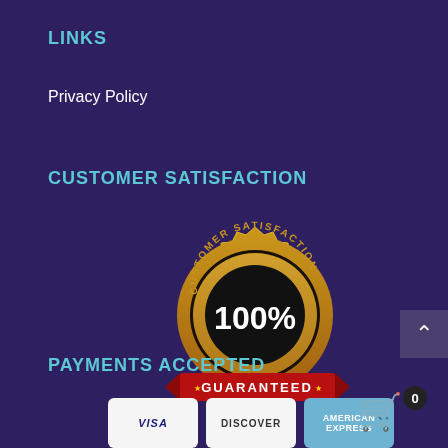LINKS
Privacy Policy
CUSTOMER SATISFACTION
[Figure (logo): Customer Satisfaction 100% Guaranteed gold badge/seal with red ribbon banner]
PAYMENTS ACCEPTED
[Figure (other): Payment method logos: Visa, Discover, American Express cards partially visible at bottom]